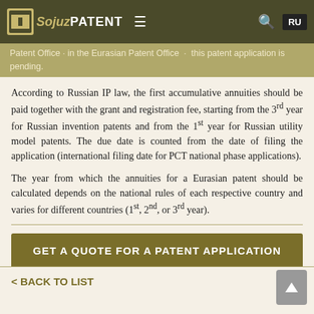SojuzPatent — Patent Office (in the Eurasian Patent Office) — this patent application is pending.
According to Russian IP law, the first accumulative annuities should be paid together with the grant and registration fee, starting from the 3rd year for Russian invention patents and from the 1st year for Russian utility model patents. The due date is counted from the date of filing the application (international filing date for PCT national phase applications).
The year from which the annuities for a Eurasian patent should be calculated depends on the national rules of each respective country and varies for different countries (1st, 2nd, or 3rd year).
GET A QUOTE FOR A PATENT APPLICATION
< BACK TO LIST